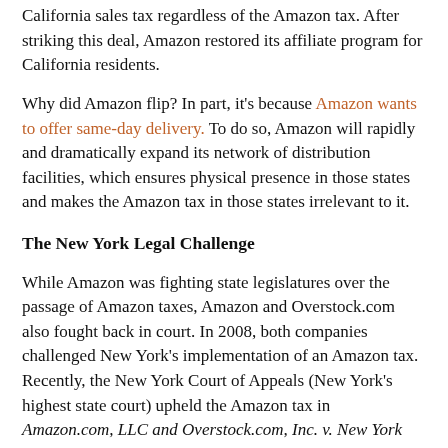California sales tax regardless of the Amazon tax.  After striking this deal, Amazon restored its affiliate program for California residents.
Why did Amazon flip?  In part, it's because Amazon wants to offer same-day delivery.  To do so, Amazon will rapidly and dramatically expand its network of distribution facilities, which ensures physical presence in those states and makes the Amazon tax in those states irrelevant to it.
The New York Legal Challenge
While Amazon was fighting state legislatures over the passage of Amazon taxes, Amazon and Overstock.com also fought back in court.  In 2008, both companies challenged New York's implementation of an Amazon tax.  Recently, the New York Court of Appeals (New York's highest state court) upheld the Amazon tax in Amazon.com, LLC and Overstock.com, Inc. v. New York State Department of Taxation and Finance.  [The opinion]  It's a terrible opinion that will make most